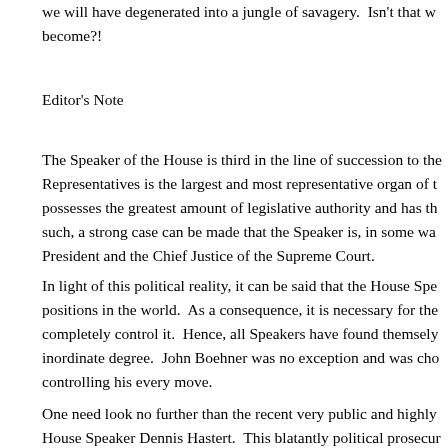we will have degenerated into a jungle of savagery.  Isn't that w become?!
Editor's Note
The Speaker of the House is third in the line of succession to the Representatives is the largest and most representative organ of t possesses the greatest amount of legislative authority and has th such, a strong case can be made that the Speaker is, in some wa President and the Chief Justice of the Supreme Court.
In light of this political reality, it can be said that the House Spe positions in the world.  As a consequence, it is necessary for the completely control it.  Hence, all Speakers have found themsely inordinate degree.  John Boehner was no exception and was cho controlling his every move.
One need look no further than the recent very public and highly House Speaker Dennis Hastert.  This blatantly political prosecur